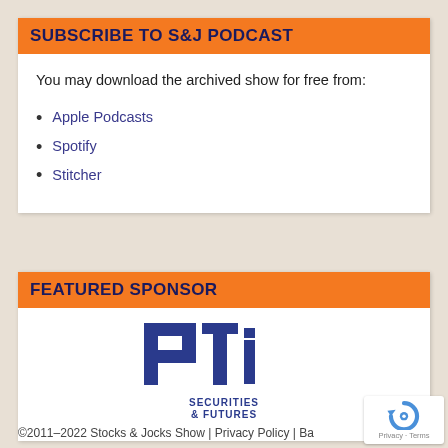SUBSCRIBE TO S&J PODCAST
You may download the archived show for free from:
Apple Podcasts
Spotify
Stitcher
FEATURED SPONSOR
[Figure (logo): PTi Securities & Futures logo — large blue block letters 'PTi' above the text 'SECURITIES & FUTURES' in blue]
©2011–2022 Stocks & Jocks Show | Privacy Policy | Ba